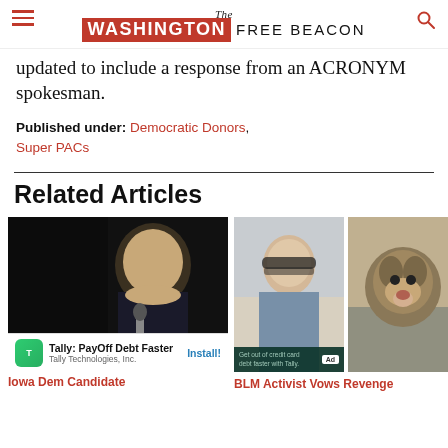The Washington Free Beacon
updated to include a response from an ACRONYM spokesman.
Published under: Democratic Donors, Super PACs
Related Articles
[Figure (photo): Photo of man speaking into microphone against dark background]
Iowa Dem Candidate
[Figure (photo): Photo of man with glasses]
[Figure (photo): Photo of dog]
BLM Activist Vows Revenge